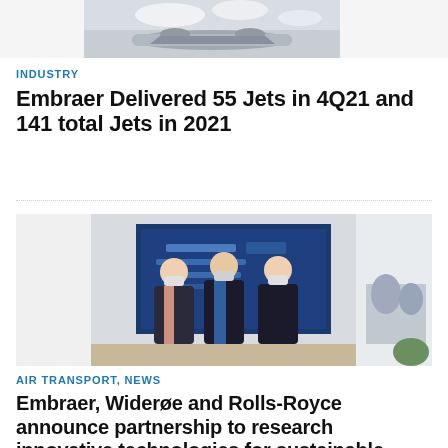[Figure (photo): Top portion of aircraft photo, partially cropped at top of page]
INDUSTRY
Embraer Delivered 55 Jets in 4Q21 and 141 total Jets in 2021
[Figure (photo): Three men in suits and face masks standing in front of a blue screen displaying aviation partnership branding]
AIR TRANSPORT, NEWS
Embraer, Widerøe and Rolls-Royce announce partnership to research innovative technologies for sustainable regional aircraft